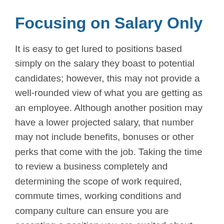Focusing on Salary Only
It is easy to get lured to positions based simply on the salary they boast to potential candidates; however, this may not provide a well-rounded view of what you are getting as an employee. Although another position may have a lower projected salary, that number may not include benefits, bonuses or other perks that come with the job. Taking the time to review a business completely and determining the scope of work required, commute times, working conditions and company culture can ensure you are accepting a position you are excited about each day long term instead of focusing on a higher projected salary that will make you miserable.
Setting Unrealistic